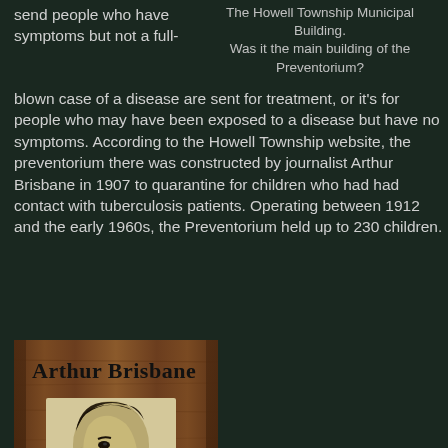send people who have symptoms but not a full-blown case of a disease are sent for treatment, or it's for people who may have been exposed to a disease but have no symptoms. According to the Howell Township website, the preventorium there was constructed by journalist Arthur Brisbane in 1907 to quarantine for children who had had contact with tuberculosis patients. Operating between 1912 and the early 1960s, the Preventorium held up to 230 children.
The Howell Township Municipal Building. Was it the main building of the Preventorium?
[Figure (photo): A wooden sign reading 'Arthur Brisbane' with a carved or engraved portrait/relief image of a person's face in profile, mounted on a wooden board.]